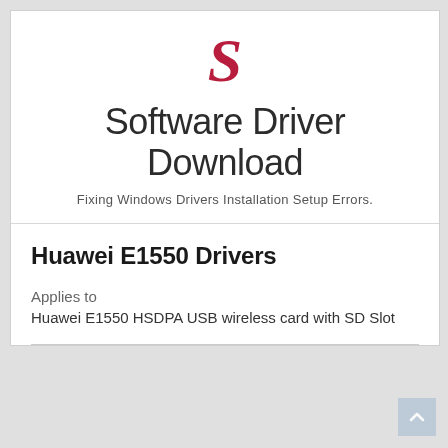[Figure (logo): Red italic letter S logo for Software Driver Download website]
Software Driver Download
Fixing Windows Drivers Installation Setup Errors.
Huawei E1550 Drivers
Applies to
Huawei E1550 HSDPA USB wireless card with SD Slot